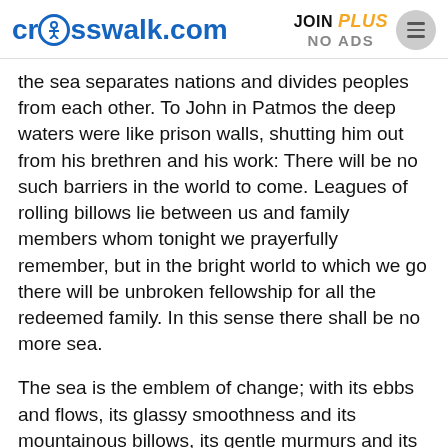crosswalk.com | JOIN PLUS NO ADS
the sea separates nations and divides peoples from each other. To John in Patmos the deep waters were like prison walls, shutting him out from his brethren and his work: There will be no such barriers in the world to come. Leagues of rolling billows lie between us and family members whom tonight we prayerfully remember, but in the bright world to which we go there will be unbroken fellowship for all the redeemed family. In this sense there shall be no more sea.
The sea is the emblem of change; with its ebbs and flows, its glassy smoothness and its mountainous billows, its gentle murmurs and its tumultuous roarings, it is never the same for very long. It is a slave of the fickle winds and the changing moon, and its instability is proverbial. In this earthly journey